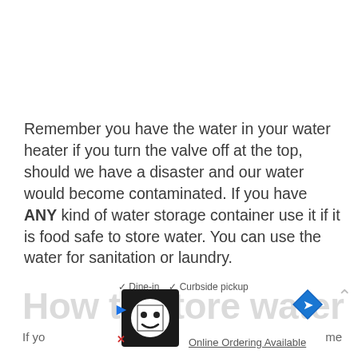Remember you have the water in your water heater if you turn the valve off at the top, should we have a disaster and our water would become contaminated. If you have ANY kind of water storage container use it if it is food safe to store water. You can use the water for sanitation or laundry.
How to store water
[Figure (screenshot): Advertisement overlay at the bottom of the page showing a restaurant ad with checkmarks for Dine-in and Curbside pickup, an Online Ordering Available link, a logo box with a cartoon face, a navigation diamond icon, an up arrow, and partial text 'If yo...' and '...me']